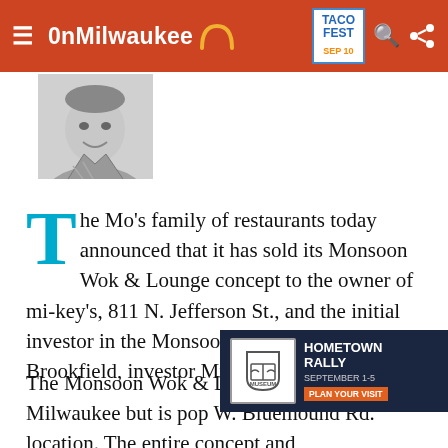OnMilwaukee — TACO FEST SEP 10
[Figure (photo): Black and white headshot photo of a man smiling, wearing a collared shirt]
The Mo's family of restaurants today announced that it has sold its Monsoon Wok & Lounge concept to the owner of mi-key's, 811 N. Jefferson St., and the initial investor in the Monsoon restaurant in Brookfield, investor Michael H. Polaski.
The Monsoon Wok & Lounge was [partially obscured] Downtown Milwaukee but is pop[ular at the] W. Bluemound Rd. location. The entire concept and [continues below]
[Figure (advertisement): Harley-Davidson Museum ad: HOMETOWN RALLY SEPTEMBER 1-5 PLAN YOUR VISIT]